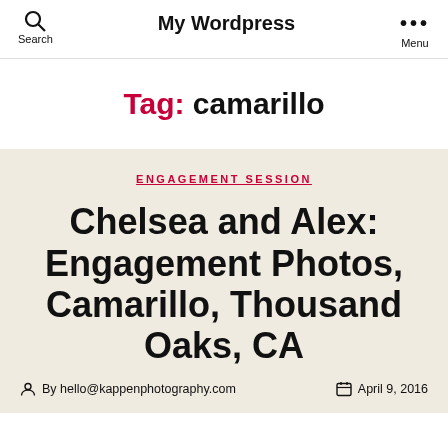Search   My Wordpress   Menu
Tag: camarillo
ENGAGEMENT SESSION
Chelsea and Alex: Engagement Photos, Camarillo, Thousand Oaks, CA
By hello@kappenphotography.com   April 9, 2016